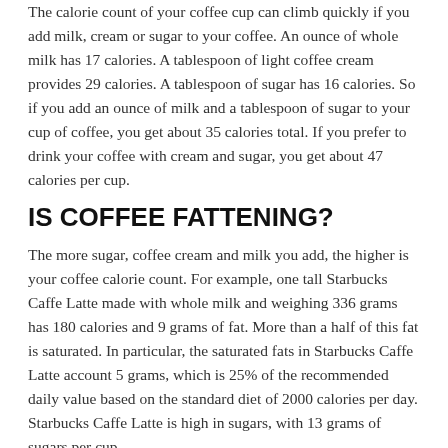The calorie count of your coffee cup can climb quickly if you add milk, cream or sugar to your coffee. An ounce of whole milk has 17 calories. A tablespoon of light coffee cream provides 29 calories. A tablespoon of sugar has 16 calories. So if you add an ounce of milk and a tablespoon of sugar to your cup of coffee, you get about 35 calories total. If you prefer to drink your coffee with cream and sugar, you get about 47 calories per cup.
IS COFFEE FATTENING?
The more sugar, coffee cream and milk you add, the higher is your coffee calorie count. For example, one tall Starbucks Caffe Latte made with whole milk and weighing 336 grams has 180 calories and 9 grams of fat. More than a half of this fat is saturated. In particular, the saturated fats in Starbucks Caffe Latte account 5 grams, which is 25% of the recommended daily value based on the standard diet of 2000 calories per day. Starbucks Caffe Latte is high in sugars, with 13 grams of sugars per cup.
To reduce the calorie count of your coffee, you can substitute